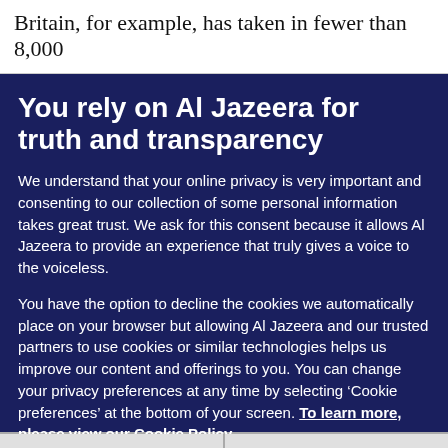Britain, for example, has taken in fewer than 8,000
You rely on Al Jazeera for truth and transparency
We understand that your online privacy is very important and consenting to our collection of some personal information takes great trust. We ask for this consent because it allows Al Jazeera to provide an experience that truly gives a voice to the voiceless.
You have the option to decline the cookies we automatically place on your browser but allowing Al Jazeera and our trusted partners to use cookies or similar technologies helps us improve our content and offerings to you. You can change your privacy preferences at any time by selecting ‘Cookie preferences’ at the bottom of your screen. To learn more, please view our Cookie Policy.